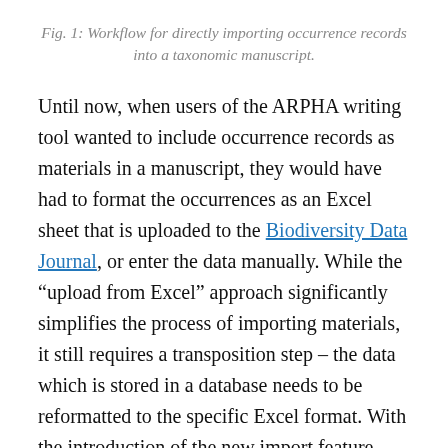Fig. 1: Workflow for directly importing occurrence records into a taxonomic manuscript.
Until now, when users of the ARPHA writing tool wanted to include occurrence records as materials in a manuscript, they would have had to format the occurrences as an Excel sheet that is uploaded to the Biodiversity Data Journal, or enter the data manually. While the “upload from Excel” approach significantly simplifies the process of importing materials, it still requires a transposition step – the data which is stored in a database needs to be reformatted to the specific Excel format. With the introduction of the new import feature,